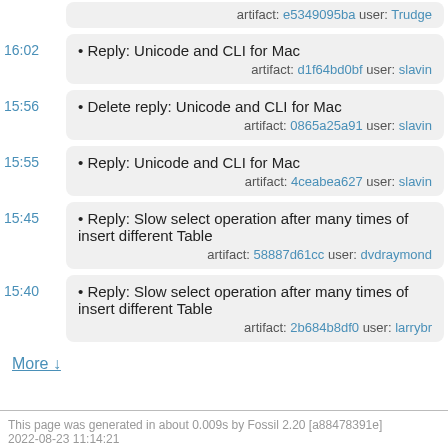artifact: e5349095ba user: Trudge
16:02 • Reply: Unicode and CLI for Mac artifact: d1f64bd0bf user: slavin
15:56 • Delete reply: Unicode and CLI for Mac artifact: 0865a25a91 user: slavin
15:55 • Reply: Unicode and CLI for Mac artifact: 4ceabea627 user: slavin
15:45 • Reply: Slow select operation after many times of insert different Table artifact: 58887d61cc user: dvdraymond
15:40 • Reply: Slow select operation after many times of insert different Table artifact: 2b684b8df0 user: larrybr
More ↓
This page was generated in about 0.009s by Fossil 2.20 [a88478391e] 2022-08-23 11:14:21